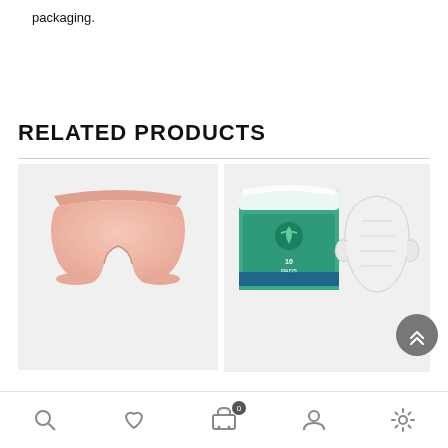packaging.
RELATED PRODUCTS
[Figure (photo): Two related product images: left shows a pink/beige underwear/brief, right shows a box of incontinence pads with a single pad beside it]
Bottom navigation bar with search, heart/wishlist, cart (0), profile, and settings icons